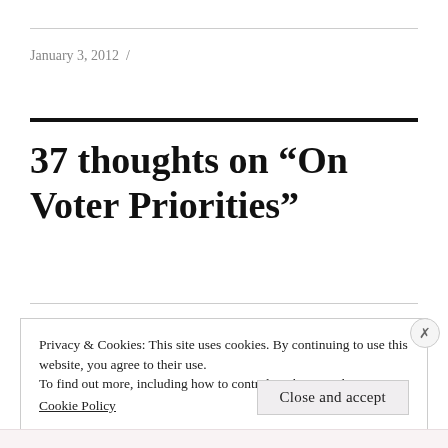January 3, 2012  /
37 thoughts on “On Voter Priorities”
Privacy & Cookies: This site uses cookies. By continuing to use this website, you agree to their use.
To find out more, including how to control cookies, see here:
Cookie Policy
Close and accept